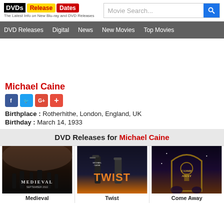[Figure (logo): DVDs ReleaseDates logo with yellow/red badge and subtitle]
Movie Search...
DVD Releases  Digital  News  New Movies  Top Movies
Michael Caine
[Figure (infographic): Social share icons: Facebook, Twitter, Google+, More]
Birthplace : Rotherhithe, London, England, UK
Birthday : March 14, 1933
DVD Releases for Michael Caine
[Figure (photo): Movie poster for Medieval]
Medieval
[Figure (photo): Movie poster for Twist]
Twist
[Figure (photo): Movie poster for Come Away]
Come Away